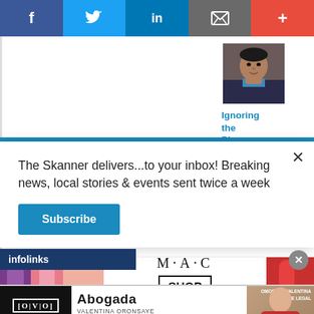[Figure (screenshot): Social media sharing bar with Facebook, Twitter, LinkedIn, email/bookmark, and plus buttons]
[Figure (photo): Headshot photo of a man in a dark jacket with blue collar]
Ignoring the Plague of Mass
The Skanner delivers...to your inbox! Breaking news, local stories & events sent twice a week
[Figure (screenshot): Subscribe button - blue rectangle with white text]
infolinks
[Figure (screenshot): MAC cosmetics advertisement showing lipsticks and SHOP NOW call to action]
[Figure (screenshot): Bottom advertisement for Abogada Valentina Oronsaye law firm with phone number 713-334-7200]